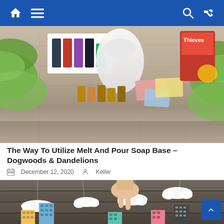Navigation bar with home, menu, search, and shuffle icons
[Figure (photo): Essential oils bottles, a white diffuser, and wellness products arranged on a rustic wooden table with green leaves on the sides and a red product package on the right]
The Way To Utilize Melt And Pour Soap Base – Dogwoods & Dandelions
December 12, 2020   Keller
[Figure (photo): A hand reaching down to place a paper cloud among hanging paper clouds above a miniature paper city skyline with colorful buildings against a dark wooden plank background]